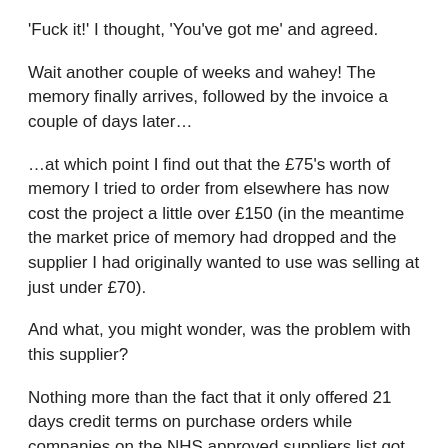'Fuck it!' I thought, 'You've got me' and agreed.
Wait another couple of weeks and wahey! The memory finally arrives, followed by the invoice a couple of days later…
…at which point I find out that the £75's worth of memory I tried to order from elsewhere has now cost the project a little over £150 (in the meantime the market price of memory had dropped and the supplier I had originally wanted to use was selling at just under £70).
And what, you might wonder, was the problem with this supplier?
Nothing more than the fact that it only offered 21 days credit terms on purchase orders while companies on the NHS approved suppliers list got there by agreeing to 60 days credit terms – and seeming also by not making too much a fuss if it took anything from 90-120 days to settle the bills.